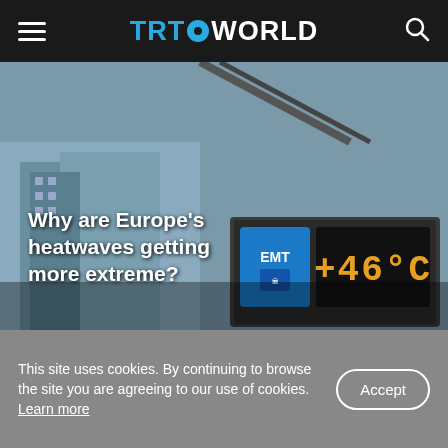TRT WORLD
[Figure (photo): A temperature display sign showing +46°C with an EMT blue sign, set against an urban background with buildings. Text overlay reads: Why are Europe's heatwaves getting more extreme?]
Why are Europe's heatwaves getting more extreme?
This site uses cookies. By continuing to browse the site you are agreeing to our use of cookies. Learn more
Accept